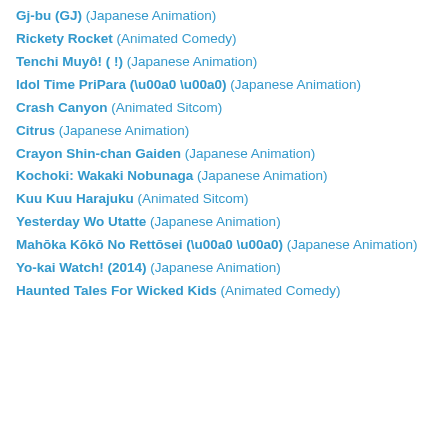Gj-bu (GJ) (Japanese Animation)
Rickety Rocket (Animated Comedy)
Tenchi Muyô! ( !) (Japanese Animation)
Idol Time PriPara (  ) (Japanese Animation)
Crash Canyon (Animated Sitcom)
Citrus (Japanese Animation)
Crayon Shin-chan Gaiden (Japanese Animation)
Kochoki: Wakaki Nobunaga (Japanese Animation)
Kuu Kuu Harajuku (Animated Sitcom)
Yesterday Wo Utatte (Japanese Animation)
Mahōka Kōkō No Rettōsei (  ) (Japanese Animation)
Yo-kai Watch! (2014) (Japanese Animation)
Haunted Tales For Wicked Kids (Animated Comedy)